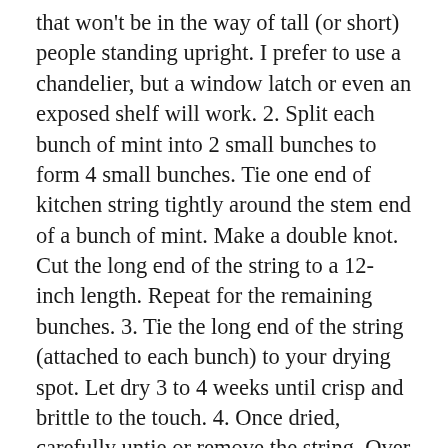that won't be in the way of tall (or short) people standing upright. I prefer to use a chandelier, but a window latch or even an exposed shelf will work. 2. Split each bunch of mint into 2 small bunches to form 4 small bunches. Tie one end of kitchen string tightly around the stem end of a bunch of mint. Make a double knot. Cut the long end of the string to a 12-inch length. Repeat for the remaining bunches. 3. Tie the long end of the string (attached to each bunch) to your drying spot. Let dry 3 to 4 weeks until crisp and brittle to the touch. 4. Once dried, carefully untie or remove the string. Over a piece of parchment paper, pull the leaves off of the stems and save the stems for another use. Pile all the dried mint leaves in the center of the parchment paper and leave them whole. 5. Fill clean and dry jars with all of your mint and